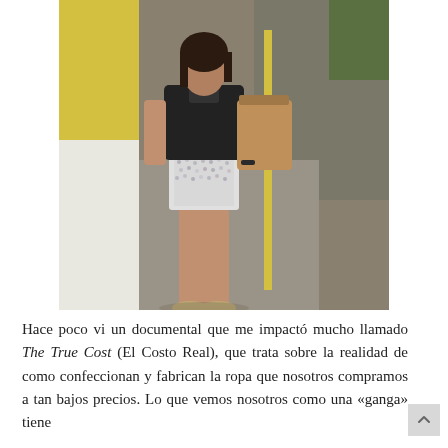[Figure (photo): A young woman standing on a cobblestone sidewalk street. She is wearing a black top, sparkly/sequined white and silver shorts, and metallic flat shoes. She carries a tan/brown tote bag. A yellow and white building is to her left. The background shows a cobblestone road and some greenery.]
Hace poco vi un documental que me impactó mucho llamado The True Cost (El Costo Real), que trata sobre la realidad de como confeccionan y fabrican la ropa que nosotros compramos a tan bajos precios. Lo que vemos nosotros como una «ganga» tiene